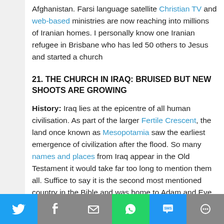Afghanistan. Farsi language satellite Christian TV and web-based ministries are now reaching into millions of Iranian homes. I personally know one Iranian refugee in Brisbane who has led 50 others to Jesus and started a church
21. THE CHURCH IN IRAQ: BRUISED BUT NEW SHOOTS ARE GROWING
History: Iraq lies at the epicentre of all human civilisation. As part of the larger Fertile Crescent, the land once known as Mesopotamia saw the earliest emergence of civilization after the flood. So many names and places from Iraq appear in the Old Testament it would take far too long to mention them all. Suffice to say it is the second most mentioned country in the Bible and was home to Adam and Eve Abraham, Amos, Daniel and Esther. Its where the Israelites were exiled to and where the three wise men came from.
[Figure (infographic): Social share bar with Twitter, Facebook, Email, WhatsApp, SMS, and More buttons]